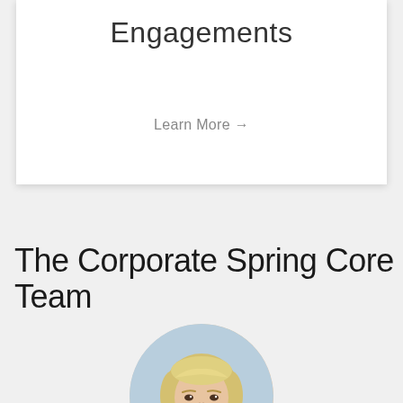Engagements
Learn More →
The Corporate Spring Core Team
[Figure (photo): Circular portrait photo of a blonde woman smiling]